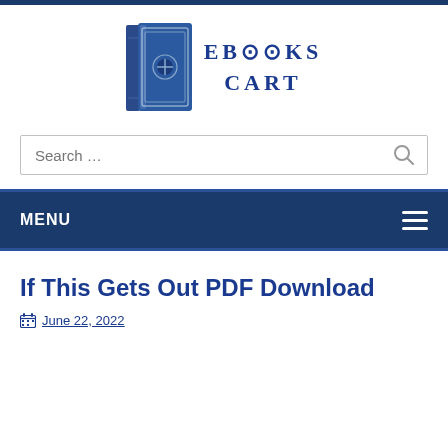[Figure (logo): EBooks Cart logo: blue hardcover book icon with the text EBOOKS CART in dark blue serif letters]
Search ...
MENU
If This Gets Out PDF Download
June 22, 2022